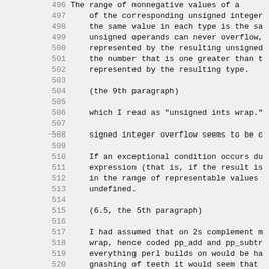Code listing lines 496-527 showing C source code comments about unsigned integer overflow, signed integer overflow, and SvIV_please/SvIOK calls